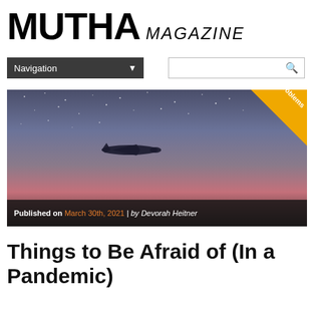MUTHA MAGAZINE
Navigation
[Figure (photo): An airplane silhouette flying against a twilight sky with stars visible, pink and purple gradient sunset clouds below. A yellow corner badge reads '99 Problems'. Bottom bar shows publication info: Published on March 30th, 2021 | by Devorah Heitner]
Things to Be Afraid of (In a Pandemic)